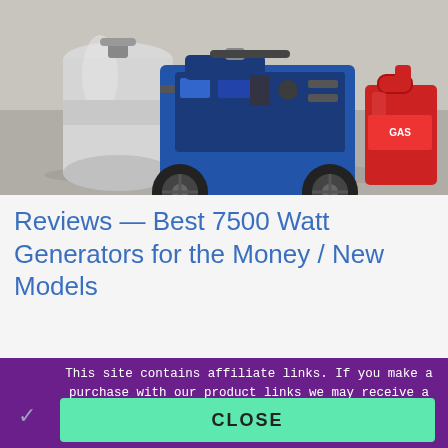[Figure (photo): A portable generator with wheels, flanked by a white propane tank on the left and a red gas can on the right, sitting on a concrete surface outdoors.]
Reviews — Best 7500 Watt Generators for the Money / New Models
This site contains affiliate links. If you make a purchase with our product links we may receive a small commission at NO COST TO YOU. (Learn More)
CLOSE